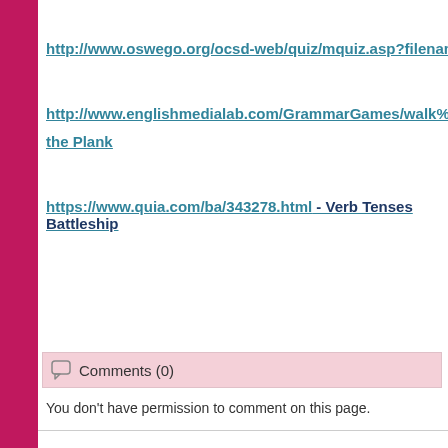http://www.oswego.org/ocsd-web/quiz/mquiz.asp?filename=msmith
http://www.englishmedialab.com/GrammarGames/walk%20plank/pro - the Plank
https://www.quia.com/ba/343278.html - Verb Tenses Battleship
Comments (0)
You don't have permission to comment on this page.